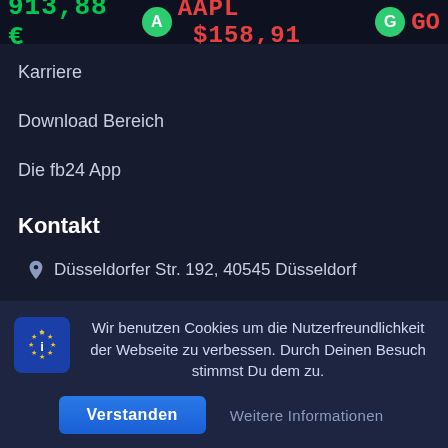913,88 € | A AAPL $158,91 | G GO...
Karriere
Download Bereich
Die fb24 App
Kontakt
Düsseldorfer Str. 192, 40545 Düsseldorf
+49 211-557886 30
kontakt@fairbroker24.de
Wir benutzen Cookies um die Nutzerfreundlichkeit der Webseite zu verbessen. Durch Deinen Besuch stimmst Du dem zu.
Verstanden | Weitere Informationen